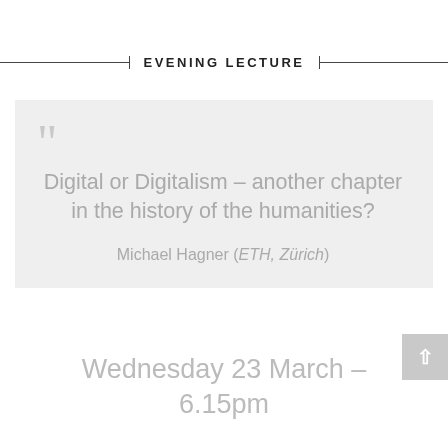EVENING LECTURE
Digital or Digitalism – another chapter in the history of the humanities?
Michael Hagner (ETH, Zürich)
Wednesday 23 March – 6.15pm